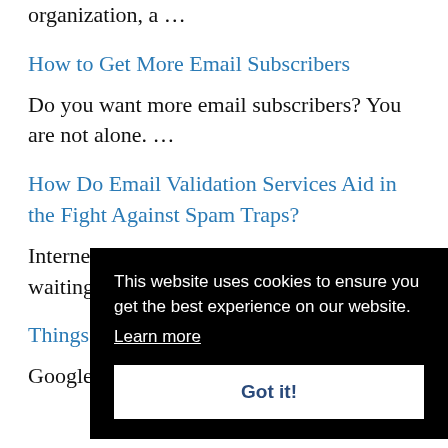organization, a …
How to Get More Email Subscribers
Do you want more email subscribers? You are not alone. …
How Do Email Validation Services Aid in the Fight Against Spam Traps?
Internet spam traps keeps striving. It is just waiting…
Things…
Google… to display targeted ads.
[Figure (screenshot): Cookie consent overlay with black background. Text: 'This website uses cookies to ensure you get the best experience on our website.' with a 'Learn more' link and a 'Got it!' button.]